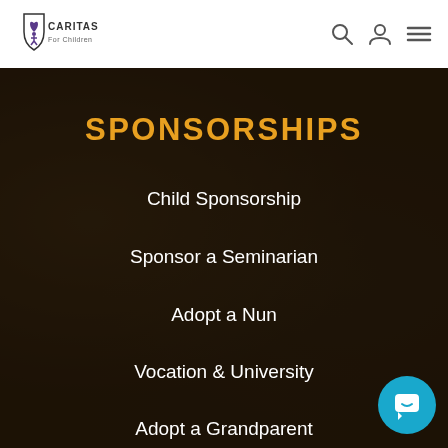[Figure (logo): Caritas For Children logo — shield with heart and child figure, text 'CARITAS For Children']
SPONSORSHIPS
Child Sponsorship
Sponsor a Seminarian
Adopt a Nun
Vocation & University
Adopt a Grandparent